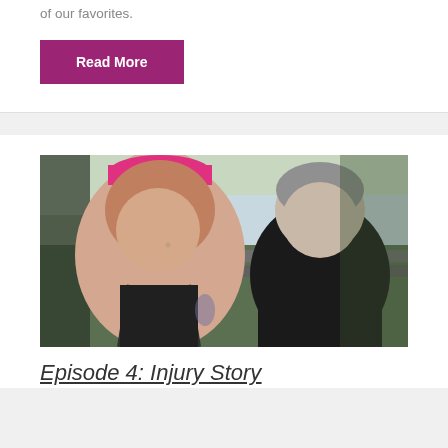of our favorites.
Read More
[Figure (photo): Two runners posing for a selfie outdoors near a waterway with pipes running alongside a grassy embankment and trees in the background. The woman on the left wears a pink headband and black tank top; the man on the right wears a black t-shirt.]
Episode 4: Injury Story